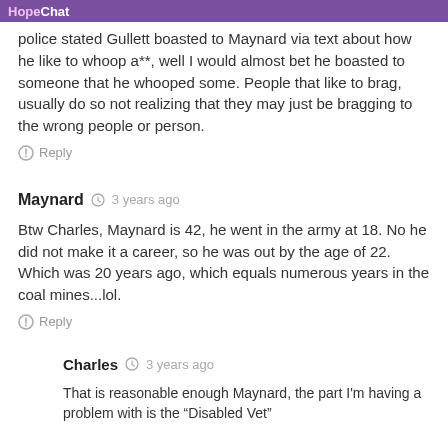HopeChat
police stated Gullett boasted to Maynard via text about how he like to whoop a**, well I would almost bet he boasted to someone that he whooped some. People that like to brag, usually do so not realizing that they may just be bragging to the wrong people or person.
Reply
Maynard  3 years ago
Btw Charles, Maynard is 42, he went in the army at 18. No he did not make it a career, so he was out by the age of 22. Which was 20 years ago, which equals numerous years in the coal mines...lol.
Reply
Charles  3 years ago
That is reasonable enough Maynard, the part I'm having a problem with is the "Disabled Vet"